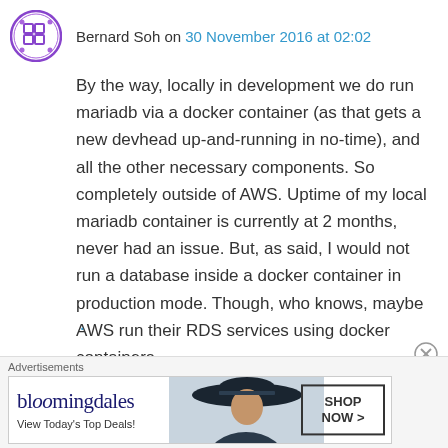[Figure (logo): Purple circular avatar/logo with grid-like pattern, resembling a camera or grid icon]
Bernard Soh on 30 November 2016 at 02:02
By the way, locally in development we do run mariadb via a docker container (as that gets a new devhead up-and-running in no-time), and all the other necessary components. So completely outside of AWS. Uptime of my local mariadb container is currently at 2 months, never had an issue. But, as said, I would not run a database inside a docker container in production mode. Though, who knows, maybe AWS run their RDS services using docker containers.
Advertisements
[Figure (photo): Bloomingdales advertisement banner showing logo, a woman in a wide-brim hat, and a 'SHOP NOW >' button with tagline 'View Today's Top Deals!']